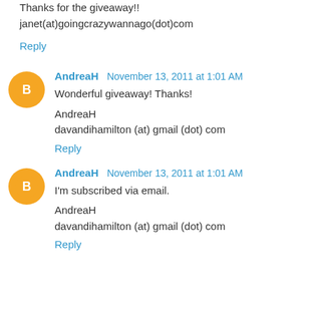Thanks for the giveaway!!
janet(at)goingcrazywannago(dot)com
Reply
AndreaH  November 13, 2011 at 1:01 AM
Wonderful giveaway! Thanks!

AndreaH
davandihamilton (at) gmail (dot) com
Reply
AndreaH  November 13, 2011 at 1:01 AM
I'm subscribed via email.

AndreaH
davandihamilton (at) gmail (dot) com
Reply